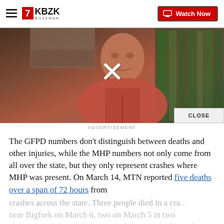7KBZK BOZEMAN — Watch Now
[Figure (screenshot): Video thumbnail showing a man in a red shirt in an office/library setting, with a large white X overlay indicating a closeable video player. A CLOSE button appears in the bottom-right corner.]
ADVERTISEMENT
The GFPD numbers don’t distinguish between deaths and other injuries, while the MHP numbers not only come from all over the state, but they only represent crashes where MHP was present. On March 14, MTN reported five deaths over a span of 72 hours from crashes across the state. Three people died in a cra near Bigfork on March 6, two on March 5 in two separate crashes, another on March 2 in Missoula, and